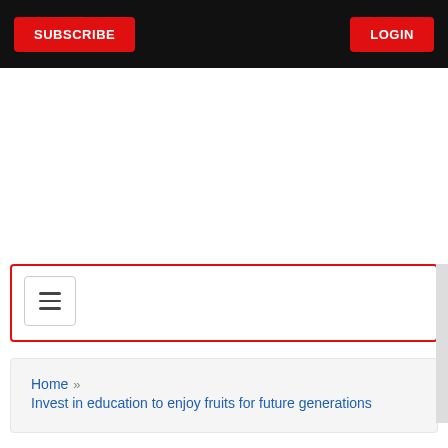SUBSCRIBE | LOGIN
[Figure (screenshot): Navigation bar with hamburger menu icon and HOT NEWS tab on the right side]
Home » Invest in education to enjoy fruits for future generations
Invest in education to enjoy